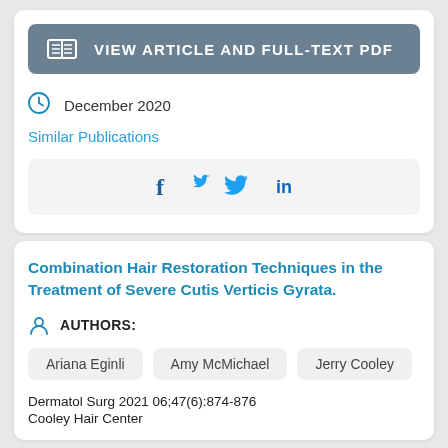[Figure (other): Button: VIEW ARTICLE AND FULL-TEXT PDF with book/open-pages icon on grey background]
December 2020
Similar Publications
[Figure (other): Social share bar with Facebook (f), Twitter (bird), and LinkedIn (in) icons]
Combination Hair Restoration Techniques in the Treatment of Severe Cutis Verticis Gyrata.
AUTHORS:
Ariana Eginli
Amy McMichael
Jerry Cooley
Dermatol Surg 2021 06;47(6):874-876
Cooley Hair Center